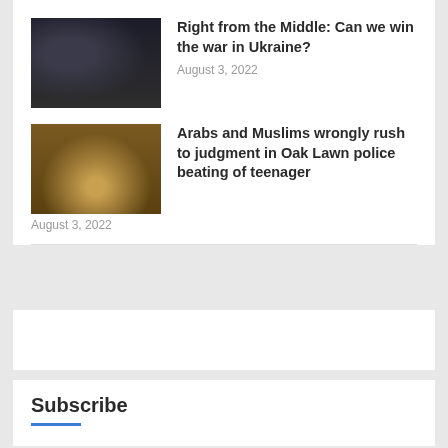Right from the Middle: Can we win the war in Ukraine?
August 3, 2022
Arabs and Muslims wrongly rush to judgment in Oak Lawn police beating of teenager
August 3, 2022
Subscribe